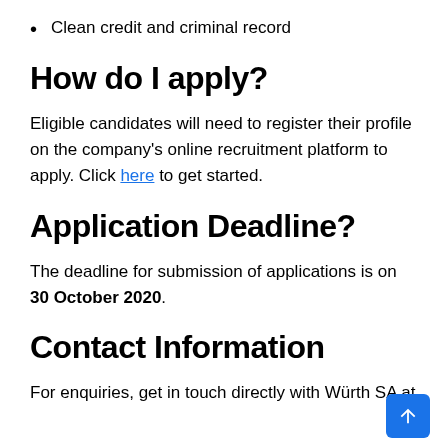Clean credit and criminal record
How do I apply?
Eligible candidates will need to register their profile on the company's online recruitment platform to apply. Click here to get started.
Application Deadline?
The deadline for submission of applications is on 30 October 2020.
Contact Information
For enquiries, get in touch directly with Würth SA at